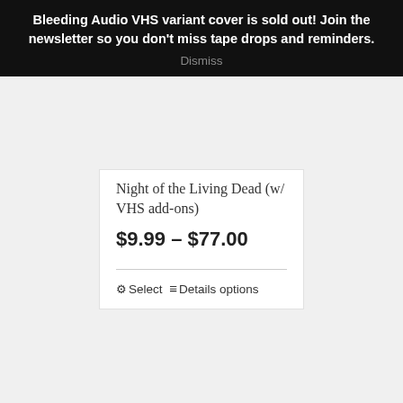Bleeding Audio VHS variant cover is sold out! Join the newsletter so you don't miss tape drops and reminders.
Dismiss
Night of the Living Dead (w/ VHS add-ons)
$9.99 – $77.00
⚙ Select ≡ Details options
Out of stock
[Figure (illustration): Horror artwork showing a zombie face with dark red and teal colors, painted style]